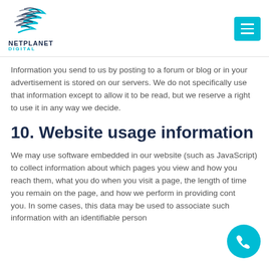NETPLANET DIGITAL
Information you send to us by posting to a forum or blog or in your advertisement is stored on our servers. We do not specifically use that information except to allow it to be read, but we reserve a right to use it in any way we decide.
10. Website usage information
We may use software embedded in our website (such as JavaScript) to collect information about which pages you view and how you reach them, what you do when you visit a page, the length of time you remain on the page, and how we perform in providing cont... you. In some cases, this data may be used to associate such information with an identifiable person